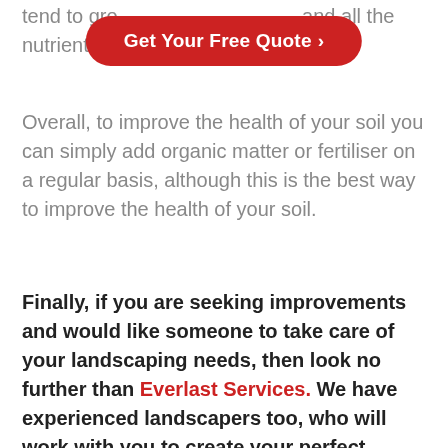tend to grow… and all the nutrients i… them.
[Figure (other): Red rounded-rectangle call-to-action button with white text reading 'Get Your Free Quote ›']
Overall, to improve the health of your soil you can simply add organic matter or fertiliser on a regular basis, although this is the best way to improve the health of your soil.
Finally, if you are seeking improvements and would like someone to take care of your landscaping needs, then look no further than Everlast Services. We have experienced landscapers too, who will work with you to create your perfect outdoor living space.